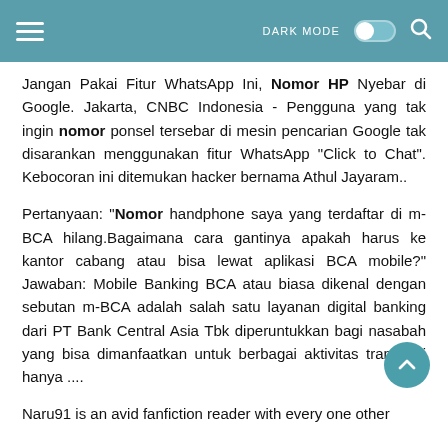DARK MODE [toggle] [search]
Jangan Pakai Fitur WhatsApp Ini, Nomor HP Nyebar di Google. Jakarta, CNBC Indonesia - Pengguna yang tak ingin nomor ponsel tersebar di mesin pencarian Google tak disarankan menggunakan fitur WhatsApp "Click to Chat". Kebocoran ini ditemukan hacker bernama Athul Jayaram..
Pertanyaan: "Nomor handphone saya yang terdaftar di m-BCA hilang.Bagaimana cara gantinya apakah harus ke kantor cabang atau bisa lewat aplikasi BCA mobile?" Jawaban: Mobile Banking BCA atau biasa dikenal dengan sebutan m-BCA adalah salah satu layanan digital banking dari PT Bank Central Asia Tbk diperuntukkan bagi nasabah yang bisa dimanfaatkan untuk berbagai aktivitas transaksi hanya ....
Naru91 is an avid fanfiction reader with every one other